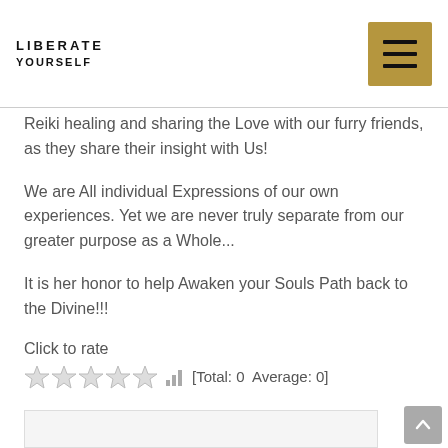LIBERATE YOURSELF
Reiki healing and sharing the Love with our furry friends, as they share their insight with Us!
We are All individual Expressions of our own experiences. Yet we are never truly separate from our greater purpose as a Whole...
It is her honor to help Awaken your Souls Path back to the Divine!!!
Click to rate
[Total: 0  Average: 0]